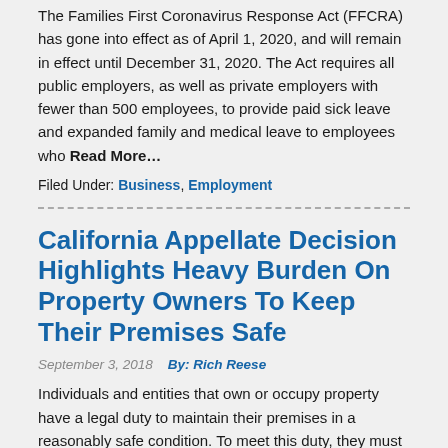The Families First Coronavirus Response Act (FFCRA) has gone into effect as of April 1, 2020, and will remain in effect until December 31, 2020. The Act requires all public employers, as well as private employers with fewer than 500 employees, to provide paid sick leave and expanded family and medical leave to employees who Read More…
Filed Under: Business, Employment
California Appellate Decision Highlights Heavy Burden On Property Owners To Keep Their Premises Safe
September 3, 2018   By: Rich Reese
Individuals and entities that own or occupy property have a legal duty to maintain their premises in a reasonably safe condition. To meet this duty, they must use ordinary care in inspecting and maintaining the property.